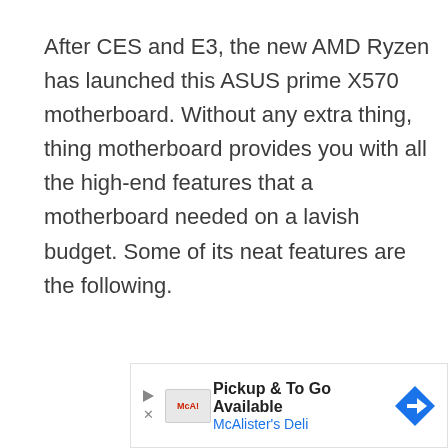After CES and E3, the new AMD Ryzen has launched this ASUS prime X570 motherboard. Without any extra thing, thing motherboard provides you with all the high-end features that a motherboard needed on a lavish budget. Some of its neat features are the following.
[Figure (other): Advertisement banner for McAlister's Deli — 'Pickup & To Go Available' with McAlister's Deli logo, play button, close button, and a blue diamond navigation arrow icon.]